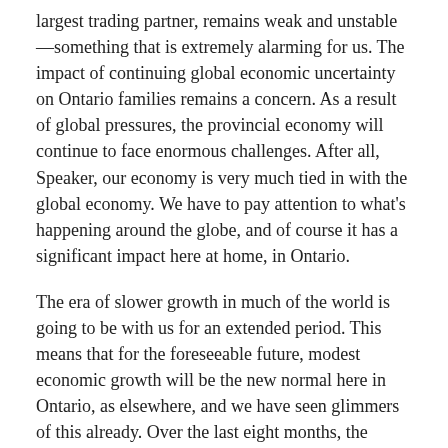largest trading partner, remains weak and unstable—something that is extremely alarming for us. The impact of continuing global economic uncertainty on Ontario families remains a concern. As a result of global pressures, the provincial economy will continue to face enormous challenges. After all, Speaker, our economy is very much tied in with the global economy. We have to pay attention to what's happening around the globe, and of course it has a significant impact here at home, in Ontario.
The era of slower growth in much of the world is going to be with us for an extended period. This means that for the foreseeable future, modest economic growth will be the new normal here in Ontario, as elsewhere, and we have seen glimmers of this already. Over the last eight months, the global economy has seen a widespread downward shift in projections for growth. When the 2011 budget was published this past March, the average private sector forecast for Ontario's real GDP growth was 2.6% for the